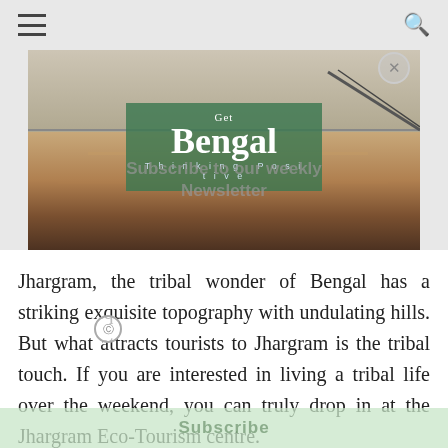☰   🔍
[Figure (photo): Interior photo of a building with wooden floors and railings, with a Get Bengal 'Thinking Positive' logo overlay in green]
Jhargram, the tribal wonder of Bengal has a striking exquisite topography with undulating hills. But what attracts tourists to Jhargram is the tribal touch. If you are interested in living a tribal life over the weekend, you can truly drop in at the Jhargram Eco-Tourism centre.